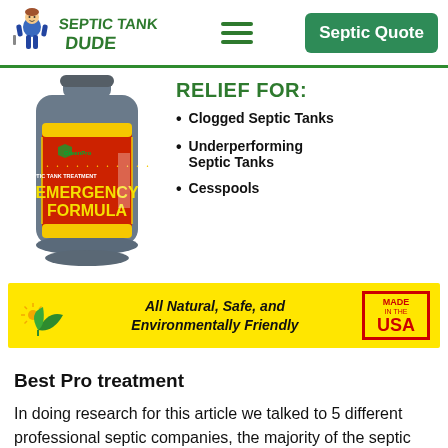Septic Tank Dude — Septic Quote
[Figure (photo): Product bottle of Green Pro Septic Tank Treatment Emergency Formula]
RELIEF FOR:
Clogged Septic Tanks
Underperforming Septic Tanks
Cesspools
[Figure (infographic): Yellow banner: All Natural, Safe, and Environmentally Friendly — Made in the USA]
Best Pro treatment
In doing research for this article we talked to 5 different professional septic companies, the majority of the septic professionals recommended this Pro-Pump Septic Tank